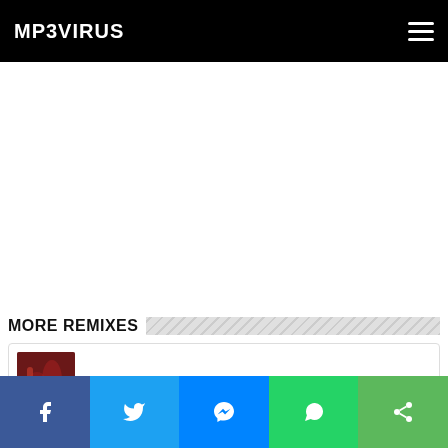MP3VIRUS
MORE REMIXES
Biba – DJ Lijo Remix